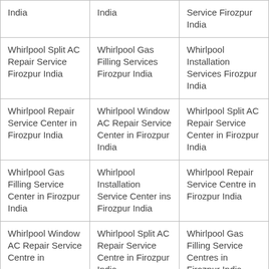| India | India | Service Firozpur India |
| Whirlpool Split AC Repair Service Firozpur India | Whirlpool Gas Filling Services Firozpur India | Whirlpool Installation Services Firozpur India |
| Whirlpool Repair Service Center in Firozpur India | Whirlpool Window AC Repair Service Center in Firozpur India | Whirlpool Split AC Repair Service Center in Firozpur India |
| Whirlpool Gas Filling Service Center in Firozpur India | Whirlpool Installation Service Center ins Firozpur India | Whirlpool Repair Service Centre in Firozpur India |
| Whirlpool Window AC Repair Service Centre in | Whirlpool Split AC Repair Service Centre in Firozpur India | Whirlpool Gas Filling Service Centres in Firozpur India |